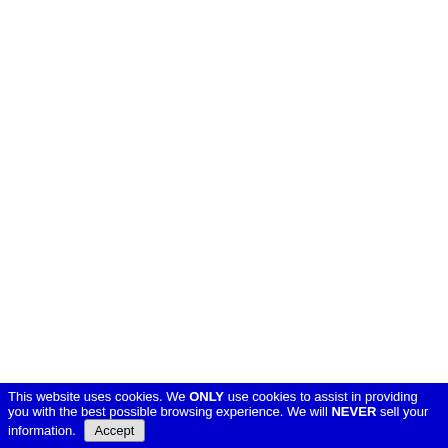| Lot# | Image | Description |
| --- | --- | --- |
| 155 | [image: colonial shilling note] | Superb Vivid May 1786 Rh Shilling Note New-66 Pre Quality
State of Rho 1786, One S Margins, PC New-66 Pre Quality. |
| 156 | [image: colonial land bank bond] | 1786 Rare R "Land Bank' Bond Signe by "Joseph Treasurer
June 10, 17 Printed Doc Land (Bank) fiscal Bond  Rhode Islan Office, fully Signed Thre text by "Jos |
This website uses cookies. We ONLY use cookies to assist in providing you with the best possible browsing experience. We will NEVER sell your information.